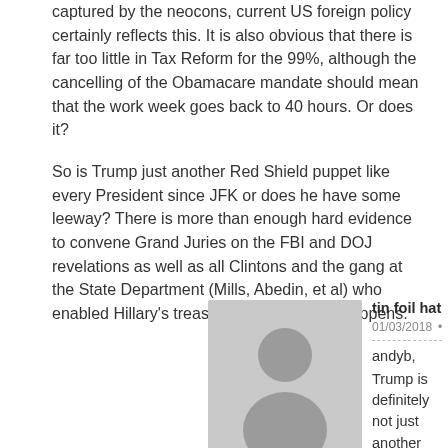captured by the neocons, current US foreign policy certainly reflects this. It is also obvious that there is far too little in Tax Reform for the 99%, although the cancelling of the Obamacare mandate should mean that the work week goes back to 40 hours. Or does it?
So is Trump just another Red Shield puppet like every President since JFK or does he have some leeway? There is more than enough hard evidence to convene Grand Juries on the FBI and DOJ revelations as well as all Clintons and the gang at the State Department (Mills, Abedin, et al) who enabled Hillary's treason. Let's see what happens.
[Figure (illustration): Generic user avatar - grey silhouette of a person on a light grey background]
tin foil hat   01/03/2018  •  Reply
andyb,
Trump is definitely not just another puppet. He has been taunting the Deep State, poking them in the eyes.
When W. Bush and H. Bush attacked Trump's Tax Plan, Trump responded by saying that he would release all JFK records.